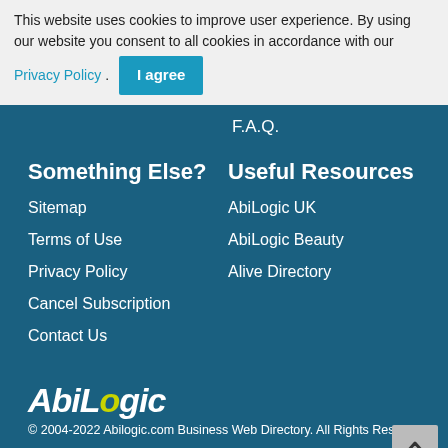This website uses cookies to improve user experience. By using our website you consent to all cookies in accordance with our Privacy Policy. I agree
F.A.Q.
Something Else?
Useful Resources
Sitemap
AbiLogic UK
Terms of Use
AbiLogic Beauty
Privacy Policy
Alive Directory
Cancel Subscription
Contact Us
AbiLogic
© 2004-2022 Abilogic.com Business Web Directory. All Rights Reserved